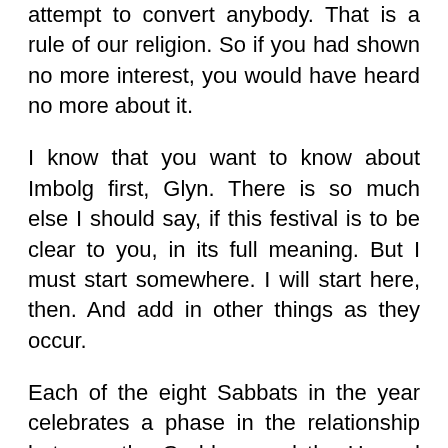attempt to convert anybody. That is a rule of our religion. So if you had shown no more interest, you would have heard no more about it.
I know that you want to know about Imbolg first, Glyn. There is so much else I should say, if this festival is to be clear to you, in its full meaning. But I must start somewhere. I will start here, then. And add in other things as they occur.
Each of the eight Sabbats in the year celebrates a phase in the relationship between the Goddess and the Horned God, Mother/Father Nature, according to season. Imbolg is about beginnings. I call it Brideday. Bride is one of the Goddess's many names. Though it was Christianized